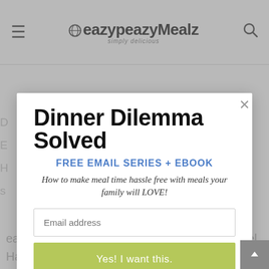eazypeazyMealz — simply delicious
[Figure (screenshot): Website modal popup overlay on eazypeazyMealz website with email signup form]
Dinner Dilemma Solved
FREE EMAIL SERIES + EBOOK
How to make meal time hassle free with meals your family will LOVE!
Email address
Yes! I want this.
easier to make than the Original Cracker Barrel Hashbrown Casserole and it is oh so delicious.